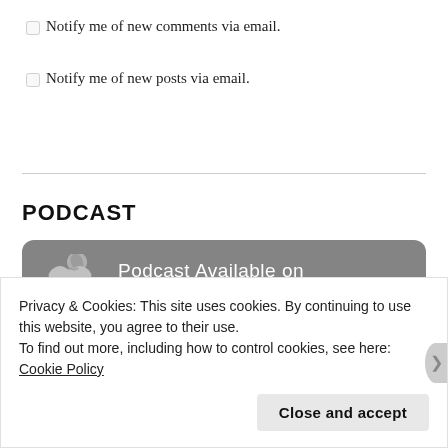Notify me of new comments via email.
Notify me of new posts via email.
PODCAST
[Figure (illustration): iTunes podcast availability banner with Apple logo and text 'Podcast Available on iTunes' on a gray rounded rectangle background]
Privacy & Cookies: This site uses cookies. By continuing to use this website, you agree to their use.
To find out more, including how to control cookies, see here: Cookie Policy
Close and accept